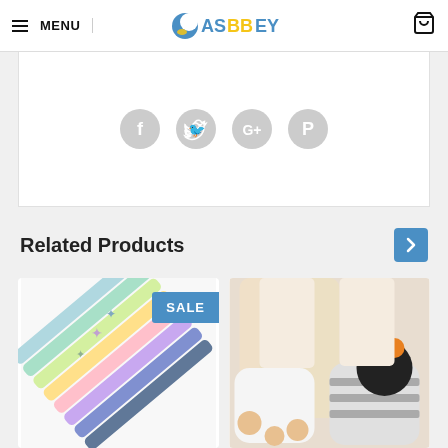MENU | ASBBEY
[Figure (other): Social media share icons: Facebook, Twitter, Google+, Pinterest — gray circles]
Related Products
[Figure (photo): Colorful star-charm pens fanned out with SALE badge]
[Figure (photo): Cat paw toe socks worn by a person, with striped and spotted socks displayed]